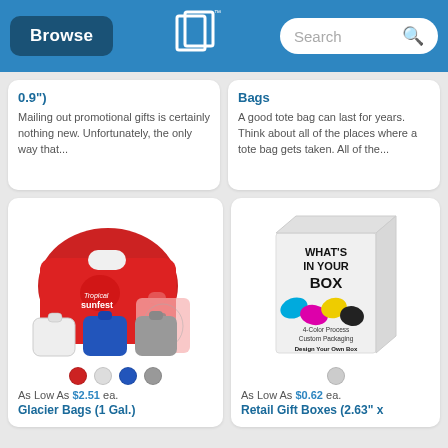Browse | [Logo] | Search
0.9")

Mailing out promotional gifts is certainly nothing new. Unfortunately, the only way that...
Bags

A good tote bag can last for years. Think about all of the places where a tote bag gets taken. All of the...
[Figure (photo): Glacier Bags product image showing red foldable water bag with Sunfest logo, multiple color variants (red, white, blue, gray), and color selection dots]
[Figure (photo): Retail Gift Box product image showing a white box with 'WHAT'S IN YOUR BOX' text and 4-Color Process Custom Packaging Design Your Own Box branding]
As Low As $2.51 ea.
As Low As $0.62 ea.
Glacier Bags (1 Gal.)
Retail Gift Boxes (2.63" x